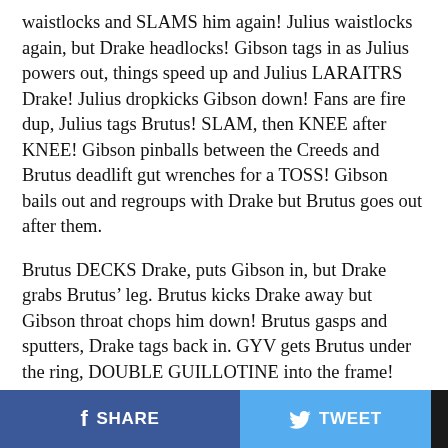waistlocks and SLAMS him again! Julius waistlocks again, but Drake headlocks! Gibson tags in as Julius powers out, things speed up and Julius LARAITRS Drake! Julius dropkicks Gibson down! Fans are fire dup, Julius tags Brutus! SLAM, then KNEE after KNEE! Gibson pinballs between the Creeds and Brutus deadlift gut wrenches for a TOSS! Gibson bails out and regroups with Drake but Brutus goes out after them.
Brutus DECKS Drake, puts Gibson in, but Drake grabs Brutus’ leg. Brutus kicks Drake away but Gibson throat chops him down! Brutus gasps and sputters, Drake tags back in. GYV gets Brutus under the ring, DOUBLE GUILLOTINE into the frame! Brutus gasps and sputters even more, Julius rushes over to back GYV off! The damage is done, fans continue to chant, “You Suck!” Drake drags Brutus up and into the ring, throws forearms
SHARE   TWEET